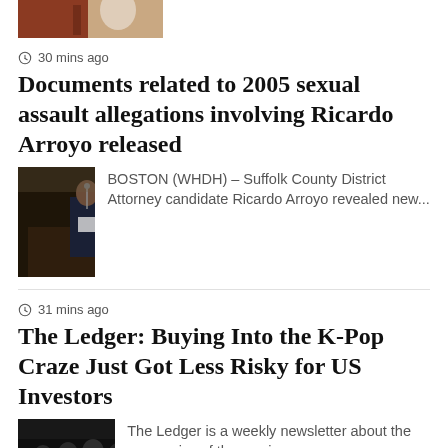[Figure (photo): Partial top image, cropped at top of page]
30 mins ago
Documents related to 2005 sexual assault allegations involving Ricardo Arroyo released
[Figure (photo): Man in suit at podium in dark setting]
BOSTON (WHDH) – Suffolk County District Attorney candidate Ricardo Arroyo revealed new...
31 mins ago
The Ledger: Buying Into the K-Pop Craze Just Got Less Risky for US Investors
[Figure (photo): Group of people in dark clothing]
The Ledger is a weekly newsletter about the economics of the music...
1 hour ago
Britney Spears Gifts Elton John Rocket Man